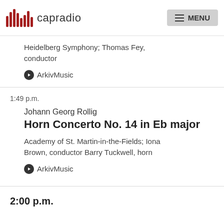capradio | MENU
Heidelberg Symphony; Thomas Fey, conductor
ArkivMusic
1:49 p.m.
Johann Georg Rollig
Horn Concerto No. 14 in Eb major
Academy of St. Martin-in-the-Fields; Iona Brown, conductor Barry Tuckwell, horn
ArkivMusic
2:00 p.m.